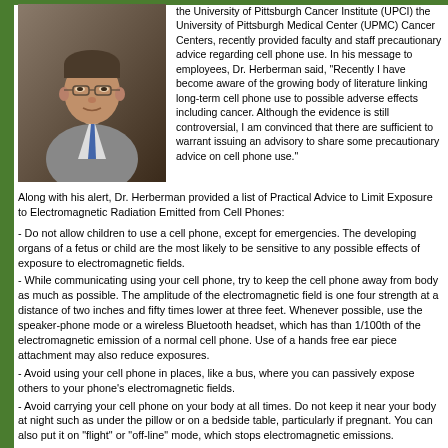[Figure (photo): Portrait photo of a middle-aged man in a suit and tie with glasses]
the University of Pittsburgh Cancer Institute (UPCI) the University of Pittsburgh Medical Center (UPMC) Cancer Centers, recently provided faculty and staff precautionary advice regarding cell phone use. In his message to employees, Dr. Herberman said, "Recently I have become aware of the growing body of literature linking long-term cell phone use to possible adverse effects including cancer. Although the evidence is still controversial, I am convinced that there are sufficient to warrant issuing an advisory to share some precautionary advice on cell phone use."
Along with his alert, Dr. Herberman provided a list of Practical Advice to Limit Exposure to Electromagnetic Radiation Emitted from Cell Phones:
- Do not allow children to use a cell phone, except for emergencies. The developing organs of a fetus or child are the most likely to be sensitive to any possible effects of exposure to electromagnetic fields.
- While communicating using your cell phone, try to keep the cell phone away from body as much as possible. The amplitude of the electromagnetic field is one four strength at a distance of two inches and fifty times lower at three feet. Whenever possible, use the speaker-phone mode or a wireless Bluetooth headset, which has than 1/100th of the electromagnetic emission of a normal cell phone. Use of a hands free ear piece attachment may also reduce exposures.
- Avoid using your cell phone in places, like a bus, where you can passively expose others to your phone's electromagnetic fields.
- Avoid carrying your cell phone on your body at all times. Do not keep it near your body at night such as under the pillow or on a bedside table, particularly if pregnant. You can also put it on "flight" or "off-line" mode, which stops electromagnetic emissions.
- If you must carry your cell phone on you, make sure that the keypad is positioned toward your body and the back is positioned toward the outside so that the transmitted electromagnetic fields move away from your rather than through you.